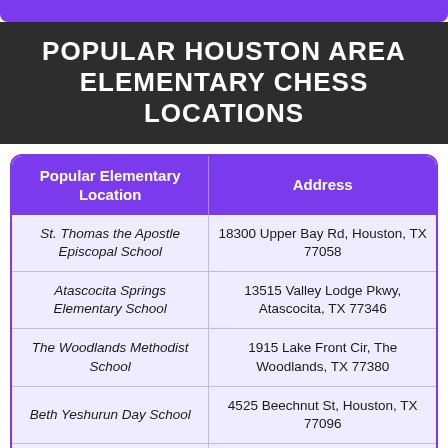POPULAR HOUSTON AREA ELEMENTARY CHESS LOCATIONS
| Popular Elementary Location | Address |
| --- | --- |
| St. Thomas the Apostle Episcopal School | 18300 Upper Bay Rd, Houston, TX 77058 |
| Atascocita Springs Elementary School | 13515 Valley Lodge Pkwy, Atascocita, TX 77346 |
| The Woodlands Methodist School | 1915 Lake Front Cir, The Woodlands, TX 77380 |
| Beth Yeshurun Day School | 4525 Beechnut St, Houston, TX 77096 |
| Commonwealth Elementary School | 4909 Commonwealth Blvd, Sugar Land, TX 77479 |
| Oak Forest Elementary School | 1401 W 43rd St, Houston, TX 77018 |